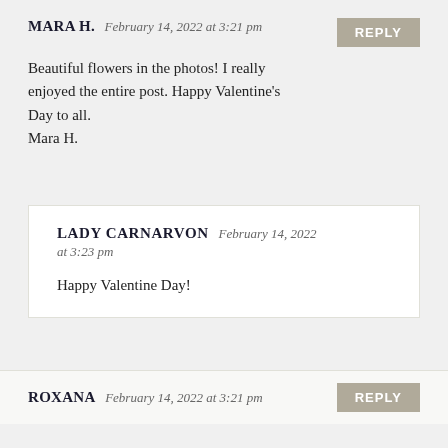MARA H. February 14, 2022 at 3:21 pm
Beautiful flowers in the photos! I really enjoyed the entire post. Happy Valentine's Day to all.
Mara H.
LADY CARNARVON February 14, 2022 at 3:23 pm
Happy Valentine Day!
ROXANA February 14, 2022 at 3:21 pm